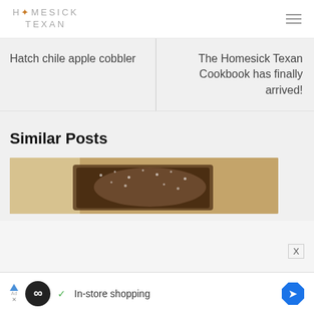HOMESICK TEXAN
Hatch chile apple cobbler
The Homesick Texan Cookbook has finally arrived!
Similar Posts
[Figure (photo): Food photo showing a baked dessert with powdered sugar dusting, brownish crust on parchment paper]
In-store shopping